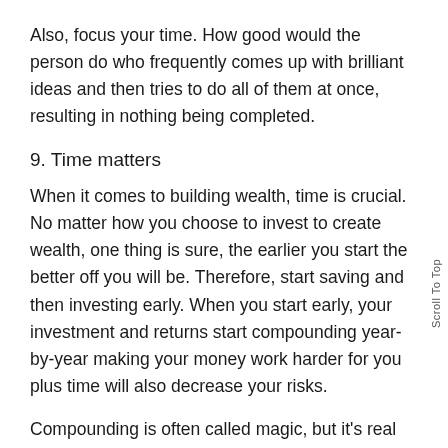Also, focus your time. How good would the person do who frequently comes up with brilliant ideas and then tries to do all of them at once, resulting in nothing being completed.
9. Time matters
When it comes to building wealth, time is crucial. No matter how you choose to invest to create wealth, one thing is sure, the earlier you start the better off you will be. Therefore, start saving and then investing early. When you start early, your investment and returns start compounding year-by-year making your money work harder for you plus time will also decrease your risks.
Compounding is often called magic, but it’s real and essential if you want to be wealthy.